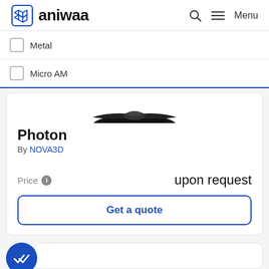aniwaa — Menu
Metal
Micro AM
[Figure (photo): Partial top view of a dark-colored 3D printer or device, cropped at top of product card]
Photon
By NOVA3D
Price  upon request
Get a quote
[Figure (other): Blue circular badge with double checkmark icon, partially visible at bottom left]